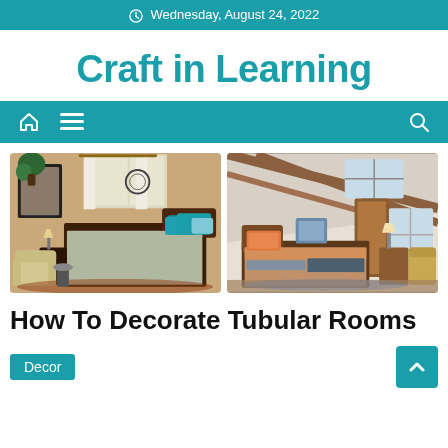Wednesday, August 24, 2022
Craft in Learning
[Figure (other): Navigation bar with home icon, menu icon, and search icon on teal background]
[Figure (photo): Two bedroom interior photos side by side: left shows a styled bedroom with teal pillows, framed art, armchair, and decorative mirror; right shows an attic bedroom with exposed wooden beams, colorful bedding, and windows]
How To Decorate Tubular Rooms
Decor